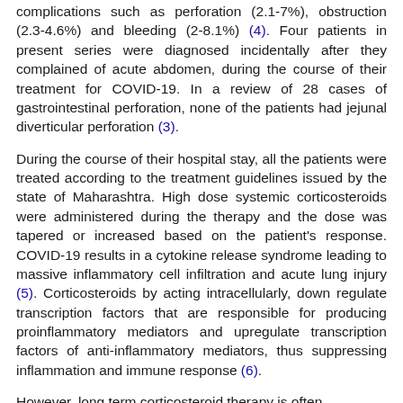complications such as perforation (2.1-7%), obstruction (2.3-4.6%) and bleeding (2-8.1%) (4). Four patients in present series were diagnosed incidentally after they complained of acute abdomen, during the course of their treatment for COVID-19. In a review of 28 cases of gastrointestinal perforation, none of the patients had jejunal diverticular perforation (3).
During the course of their hospital stay, all the patients were treated according to the treatment guidelines issued by the state of Maharashtra. High dose systemic corticosteroids were administered during the therapy and the dose was tapered or increased based on the patient's response. COVID-19 results in a cytokine release syndrome leading to massive inflammatory cell infiltration and acute lung injury (5). Corticosteroids by acting intracellularly, down regulate transcription factors that are responsible for producing proinflammatory mediators and upregulate transcription factors of anti-inflammatory mediators, thus suppressing inflammation and immune response (6).
However, long term corticosteroid therapy is often